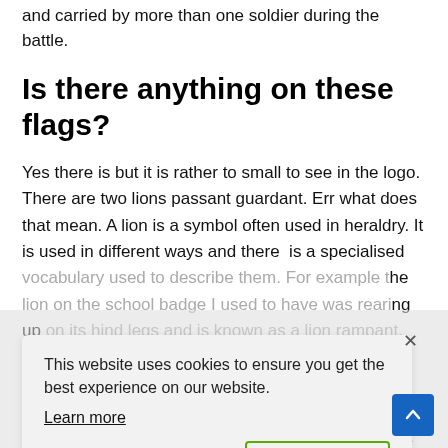and carried by more than one soldier during the battle.
Is there anything on these flags?
Yes there is but it is rather to small to see in the logo. There are two lions passant guardant. Err what does that mean. A lion is a symbol often used in heraldry. It is used in different ways and there  is a specialised vocabulary used to describe them. For example the lion on the school badge I used to have was rearing up on its hind legs and is known as a lion rampant. I looked at the really large version of the logo and I realised that there were two lions facing the same direction. I looked online to see if I could find a chart that would tell me the different terms used in heraldry for the position of the lions. Apparently the image of a
This website uses cookies to ensure you get the best experience on our website.
Learn more